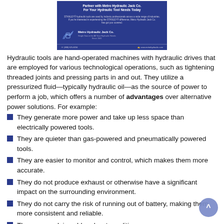[Figure (advertisement): Metro Hydraulic Jack Co. advertisement banner with dark blue background, logo, tagline 'Partner with Metro Hydraulic Jack Co. For Your Hydraulic Tool Needs Today', contact phone and website.]
Hydraulic tools are hand-operated machines with hydraulic drives that are employed for various technological operations, such as tightening threaded joints and pressing parts in and out. They utilize a pressurized fluid—typically hydraulic oil—as the source of power to perform a job, which offers a number of advantages over alternative power solutions. For example:
They generate more power and take up less space than electrically powered tools.
They are quieter than gas-powered and pneumatically powered tools.
They are easier to monitor and control, which makes them more accurate.
They do not produce exhaust or otherwise have a significant impact on the surrounding environment.
They do not carry the risk of running out of battery, making them more consistent and reliable.
They can work in cold and wet conditions
They can last for a long time with minimal maintenance